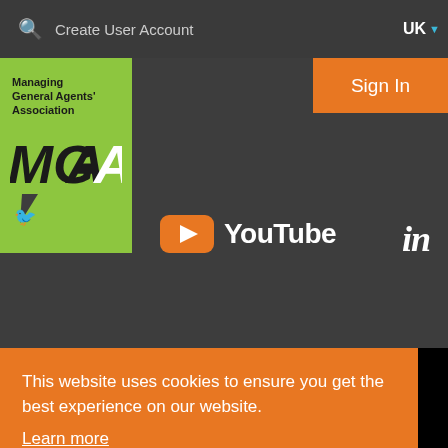Create User Account  UK
Sign In
[Figure (logo): MGAA - Managing General Agents' Association logo on green background with white speech bubble tail]
[Figure (logo): YouTube logo - orange rounded rectangle with white play button, text 'YouTube' in white]
[Figure (logo): LinkedIn 'in' logo in white text]
This website uses cookies to ensure you get the best experience on our website. Learn more
Got it!
[Figure (logo): Partial MGAA logo visible at bottom of page on green background]